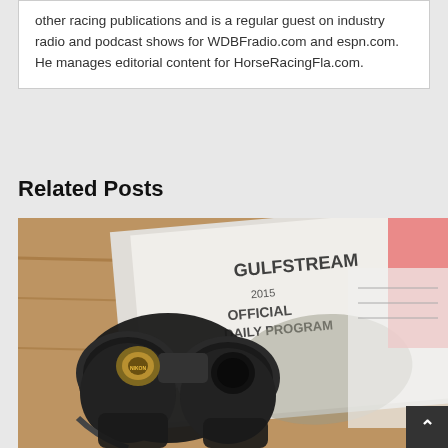other racing publications and is a regular guest on industry radio and podcast shows for WDBFradio.com and espn.com. He manages editorial content for HorseRacingFla.com.
Related Posts
[Figure (photo): A photograph showing binoculars resting on top of a Gulfstream 2015 Official Daily Program racing booklet, placed on a wooden surface with some papers nearby.]